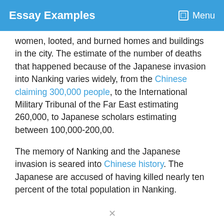Essay Examples   Menu
women, looted, and burned homes and buildings in the city. The estimate of the number of deaths that happened because of the Japanese invasion into Nanking varies widely, from the Chinese claiming 300,000 people, to the International Military Tribunal of the Far East estimating 260,000, to Japanese scholars estimating between 100,000-200,00.
The memory of Nanking and the Japanese invasion is seared into Chinese history. The Japanese are accused of having killed nearly ten percent of the total population in Nanking.